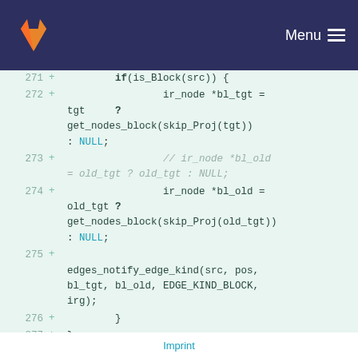GitLab — Menu
[Figure (screenshot): GitLab code diff view showing lines 271-279 of a C source file with added lines (marked with +) containing code for ir_node block tracking and edges_notify_edge_kind function call]
Imprint